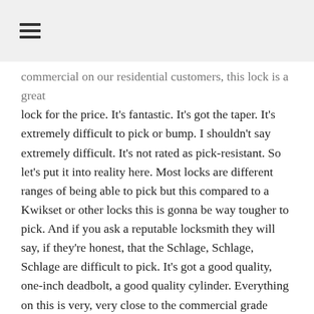≡
commercial on our residential customers, this lock is a great lock for the price. It's fantastic. It's got the taper. It's extremely difficult to pick or bump. I shouldn't say extremely difficult. It's not rated as pick-resistant. So let's put it into reality here. Most locks are different ranges of being able to pick but this compared to a Kwikset or other locks this is gonna be way tougher to pick. And if you ask a reputable locksmith they will say, if they're honest, that the Schlage, Schlage, Schlage are difficult to pick. It's got a good quality, one-inch deadbolt, a good quality cylinder. Everything on this is very, very close to the commercial grade stuff. This is not gonna fall apart in five years, even 10 years, this is gonna be a good lock. One little side piece. If the lock, when it's opened is working perfect with the key and with the lock. When you close the door, it tries it from the inside first it should just be nice and smooth like this. If it's sticking, then you either have a strike, usually it's the strike is out of whack,